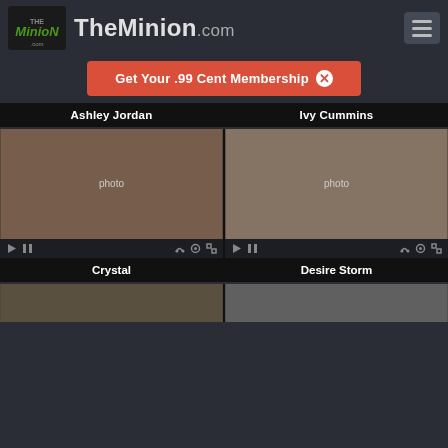TheMinion.com
Get Your .99 Cent Membership
Ashley Jordan
Ivy Cummins
[Figure (photo): Video thumbnail - Crystal]
Crystal
[Figure (photo): Video thumbnail - Desire Storm]
Desire Storm